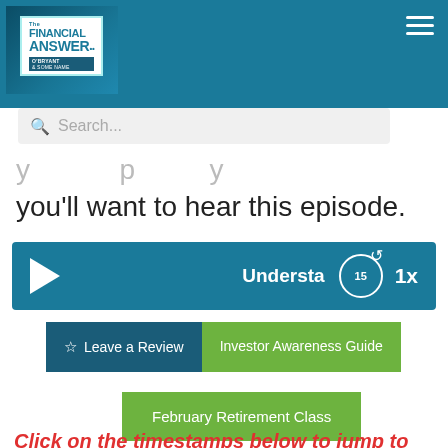[Figure (screenshot): The Financial Answer podcast logo with microphone graphic on teal/blue background]
Search...
you'll want to hear this episode.
[Figure (other): Audio player bar with play button, 'Understa' title text (truncated), rewind 15 seconds button, and 1x speed control]
Leave a Review
Investor Awareness Guide
February Retirement Class
Click on the timestamps below to jump to